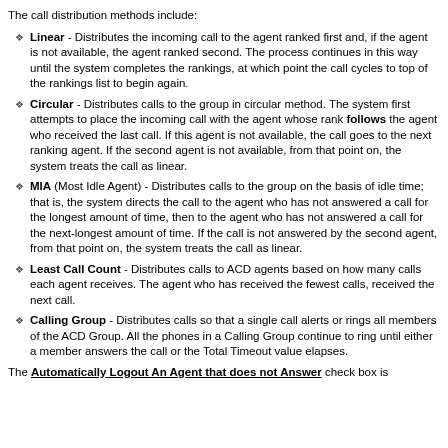The call distribution methods include:
Linear - Distributes the incoming call to the agent ranked first and, if the agent is not available, the agent ranked second. The process continues in this way until the system completes the rankings, at which point the call cycles to top of the rankings list to begin again.
Circular - Distributes calls to the group in circular method. The system first attempts to place the incoming call with the agent whose rank follows the agent who received the last call. If this agent is not available, the call goes to the next ranking agent. If the second agent is not available, from that point on, the system treats the call as linear.
MIA (Most Idle Agent) - Distributes calls to the group on the basis of idle time; that is, the system directs the call to the agent who has not answered a call for the longest amount of time, then to the agent who has not answered a call for the next-longest amount of time. If the call is not answered by the second agent, from that point on, the system treats the call as linear.
Least Call Count - Distributes calls to ACD agents based on how many calls each agent receives. The agent who has received the fewest calls, received the next call.
Calling Group - Distributes calls so that a single call alerts or rings all members of the ACD Group. All the phones in a Calling Group continue to ring until either a member answers the call or the Total Timeout value elapses.
The Automatically Logout An Agent that does not Answer check box is